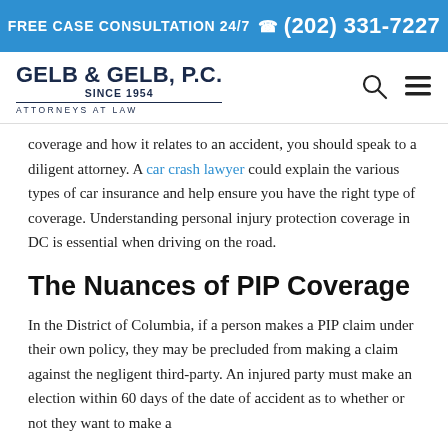FREE CASE CONSULTATION 24/7 (202) 331-7227
[Figure (logo): Gelb & Gelb, P.C. law firm logo with text 'SINCE 1954' and 'ATTORNEYS AT LAW']
coverage and how it relates to an accident, you should speak to a diligent attorney. A car crash lawyer could explain the various types of car insurance and help ensure you have the right type of coverage. Understanding personal injury protection coverage in DC is essential when driving on the road.
The Nuances of PIP Coverage
In the District of Columbia, if a person makes a PIP claim under their own policy, they may be precluded from making a claim against the negligent third-party. An injured party must make an election within 60 days of the date of accident as to whether or not they want to make a